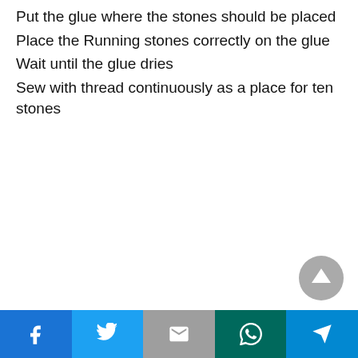Put the glue where the stones should be placed
Place the Running stones correctly on the glue
Wait until the glue dries
Sew with thread continuously as a place for ten stones
[Figure (other): Scroll-to-top button, circular grey arrow pointing up]
Social share bar: Facebook, Twitter, Gmail, WhatsApp, Send